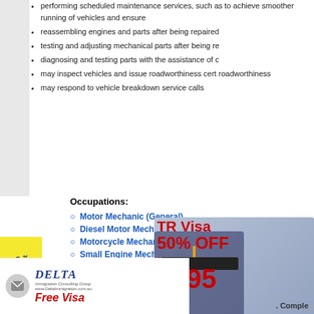performing scheduled maintenance services, such as to achieve smoother running of vehicles and ensure
reassembling engines and parts after being repaired
testing and adjusting mechanical parts after being re
diagnosing and testing parts with the assistance of c
may inspect vehicles and issue roadworthiness cert roadworthiness
may respond to vehicle breakdown service calls
Occupations:
Motor Mechanic (General)
Diesel Motor Mechanic
Motorcycle Mechanic
Small Engine Mechanic
ources: www.abs.gov.au and BIBI
[Figure (photo): Advertisement overlay showing graduation student with TR Visa 50% OFF from $495 promotional text in red]
Don't Feed the Dinosaurs Change Your Course Now
your chances of getting
[Figure (photo): Yellow sidebar rotated text: Schedule an Appointment]
[Figure (photo): Facebook Share 35 button, LinkedIn Share button, Twitter Tweet button]
[Figure (photo): T-Rex dinosaur photo overlay]
[Figure (logo): Delta Immigration Consulting Group logo with Free Visa text below]
Complete